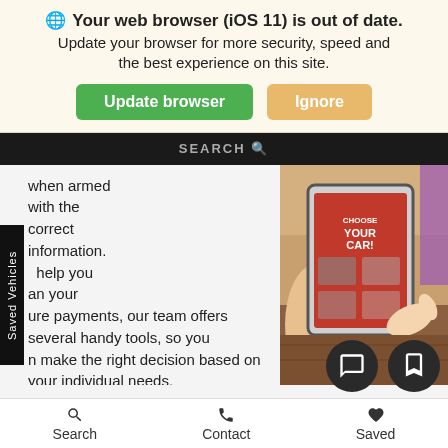🌐 Your web browser (iOS 11) is out of date. Update your browser for more security, speed and the best experience on this site.
Update browser | Ignore
SEARCH
when armed with the correct information. help you an your ure payments, our team offers several handy tools, so you n make the right decision based on your individual needs.
[Figure (photo): Person using a tablet device to browse cars, with a red screen showing 'Choose Your Car']
ou have a good idea of what you want to spend on your xt Mazda, make use of our online payment calculator. This l help you get a better idea of your monthly payments based on your desired budget.
Hoping to trade in your current vehicle to put some cash
Saved Vehicles
Search   Contact   Saved